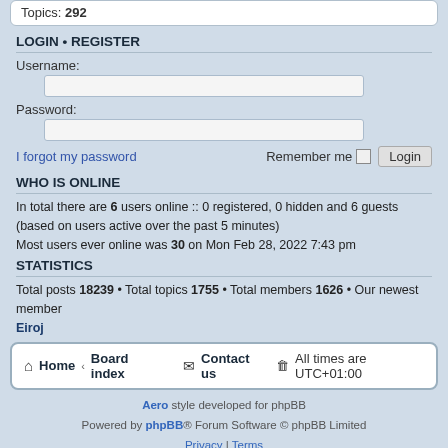Topics: 292
LOGIN • REGISTER
Username:
Password:
I forgot my password   Remember me  Login
WHO IS ONLINE
In total there are 6 users online :: 0 registered, 0 hidden and 6 guests (based on users active over the past 5 minutes)
Most users ever online was 30 on Mon Feb 28, 2022 7:43 pm
STATISTICS
Total posts 18239 • Total topics 1755 • Total members 1626 • Our newest member Eiroj
Home · Board index   Contact us   All times are UTC+01:00
Aero style developed for phpBB
Powered by phpBB® Forum Software © phpBB Limited
Privacy | Terms